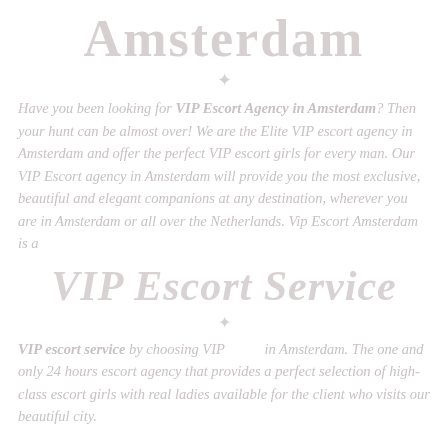Amsterdam
Have you been looking for VIP Escort Agency in Amsterdam? Then your hunt can be almost over! We are the Elite VIP escort agency in Amsterdam and offer the perfect VIP escort girls for every man. Our VIP Escort agency in Amsterdam will provide you the most exclusive, beautiful and elegant companions at any destination, wherever you are in Amsterdam or all over the Netherlands. Vip Escort Amsterdam is a
VIP Escort Service
VIP escort service by choosing VIP in Amsterdam. The one and only 24 hours escort agency that provides a perfect selection of high-class escort girls with real ladies available for the client who visits our beautiful city.